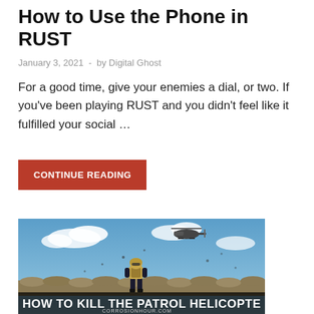How to Use the Phone in RUST
January 3, 2021  -  by Digital Ghost
For a good time, give your enemies a dial, or two. If you've been playing RUST and you didn't feel like it fulfilled your social …
CONTINUE READING
[Figure (photo): Game screenshot showing a player in tactical gear standing on sandbags facing a helicopter in the sky, with text overlay reading 'HOW TO KILL THE PATROL HELICOPTER' and website corrosionhour.com at the bottom]